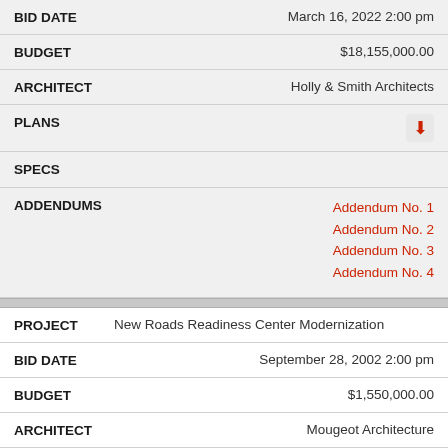| Field | Value |
| --- | --- |
| BID DATE | March 16, 2022 2:00 pm |
| BUDGET | $18,155,000.00 |
| ARCHITECT | Holly & Smith Architects |
| PLANS | [download icon] |
| SPECS |  |
| ADDENDUMS | Addendum No. 1
Addendum No. 2
Addendum No. 3
Addendum No. 4 |
| Field | Value |
| --- | --- |
| PROJECT | New Roads Readiness Center Modernization |
| BID DATE | September 28, 2002 2:00 pm |
| BUDGET | $1,550,000.00 |
| ARCHITECT | Mougeot Architecture |